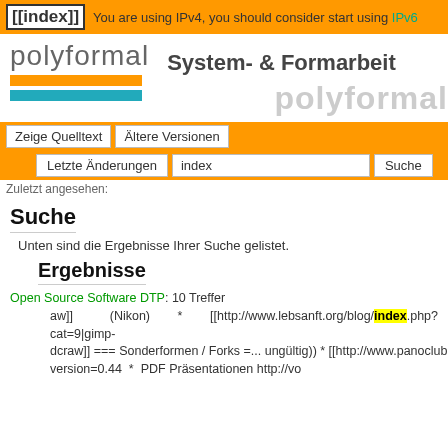[[index]] You are using IPv4, you should consider start using IPv6
[Figure (logo): Polyformal logo with orange and teal bars, and text 'System- & Formarbeit']
polyformal
Zeige Quelltext | Ältere Versionen | Letzte Änderungen | index | Suche
Zuletzt angesehen:
Suche
Unten sind die Ergebnisse Ihrer Suche gelistet.
Ergebnisse
Open Source Software DTP: 10 Treffer
aw]] (Nikon) * [[http://www.lebsanft.org/blog/index.php?cat=9|gimp-dcraw]] === Sonderformen / Forks =... ungültig)) * [[http://www.panoclub.de/hugin_tut/index.html|HOWTO]] für Hugin in Deutsch ===== Gestal... nual http://tavmjong.free.fr/INKSCAPE/MANUAL/html/index.html * Import http://tavmjong.free.fr/INKSCAP... autre Screenshots http://inkscape.org/screenshots/index.php?version=0.44 * PDF Präsentationen http://vo